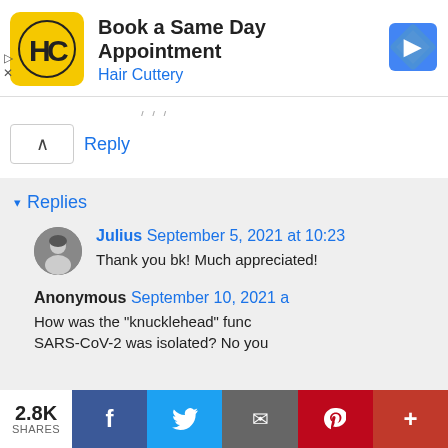[Figure (screenshot): Hair Cuttery advertisement banner with yellow logo showing 'HC', title 'Book a Same Day Appointment', subtitle 'Hair Cuttery', and a blue navigation diamond icon]
Reply
Replies
Julius September 5, 2021 at 10:23
Thank you bk! Much appreciated!
Anonymous September 10, 2021 a
How was the "knucklehead" func
SARS-CoV-2 was isolated? No you
2.8K SHARES